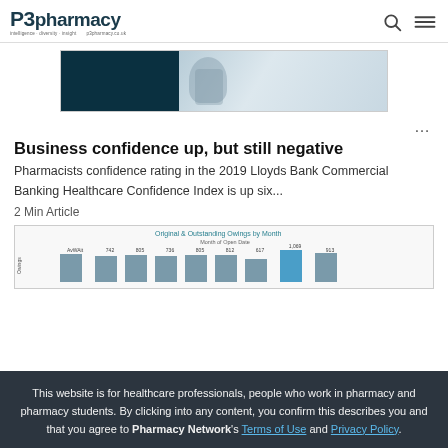P3pharmacy
[Figure (other): Advertisement banner with dark teal left panel and light grey/blue right panel showing a person]
...
Business confidence up, but still negative
Pharmacists confidence rating in the 2019 Lloyds Bank Commercial Banking Healthcare Confidence Index is up six...
2 Min Article
[Figure (bar-chart): Original & Outstanding Owings by Month bar chart showing data by Month of Open Date with values like AvWAit, 742, 805, 736, 805, 812, 617, 1,069, 913]
This website is for healthcare professionals, people who work in pharmacy and pharmacy students. By clicking into any content, you confirm this describes you and that you agree to Pharmacy Network's Terms of Use and Privacy Policy.